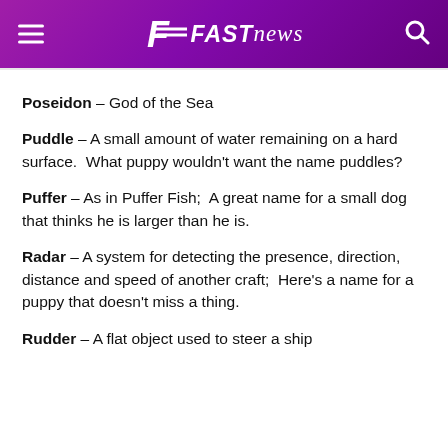FAST news
Poseidon – God of the Sea
Puddle – A small amount of water remaining on a hard surface.  What puppy wouldn't want the name puddles?
Puffer – As in Puffer Fish;  A great name for a small dog that thinks he is larger than he is.
Radar – A system for detecting the presence, direction, distance and speed of another craft;  Here's a name for a puppy that doesn't miss a thing.
Rudder – A flat object used to steer a ship